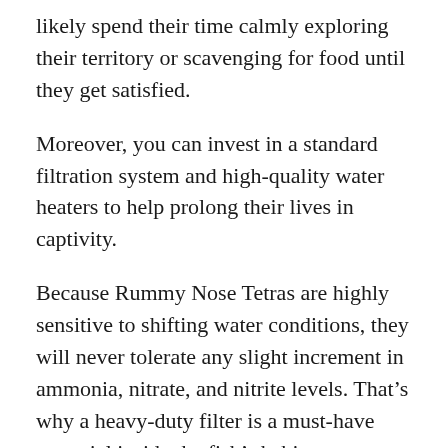likely spend their time calmly exploring their territory or scavenging for food until they get satisfied.
Moreover, you can invest in a standard filtration system and high-quality water heaters to help prolong their lives in captivity.
Because Rummy Nose Tetras are highly sensitive to shifting water conditions, they will never tolerate any slight increment in ammonia, nitrate, and nitrite levels. That’s why a heavy-duty filter is a must-have essential inside the fish’s habitat.